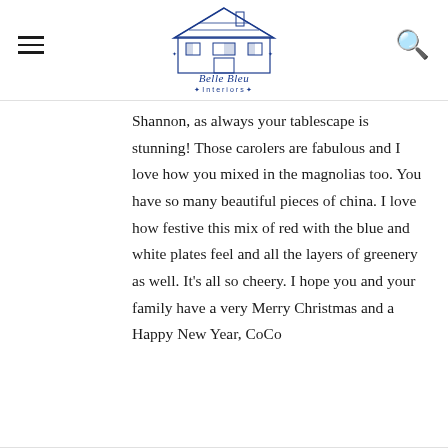Belle Bleu Interiors
Shannon, as always your tablescape is stunning! Those carolers are fabulous and I love how you mixed in the magnolias too. You have so many beautiful pieces of china. I love how festive this mix of red with the blue and white plates feel and all the layers of greenery as well. It's all so cheery. I hope you and your family have a very Merry Christmas and a Happy New Year, CoCo